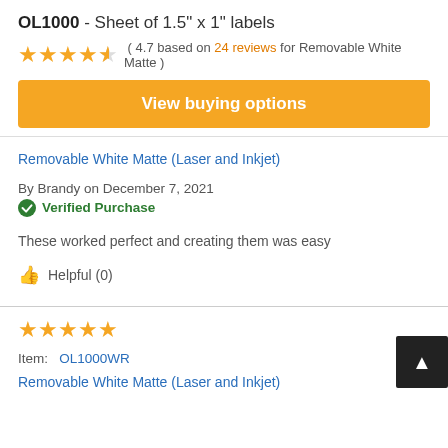OL1000 - Sheet of 1.5" x 1" labels
( 4.7 based on 24 reviews for Removable White Matte )
View buying options
Removable White Matte (Laser and Inkjet)
By Brandy on December 7, 2021
Verified Purchase
These worked perfect and creating them was easy
Helpful (0)
Item: OL1000WR
Removable White Matte (Laser and Inkjet)